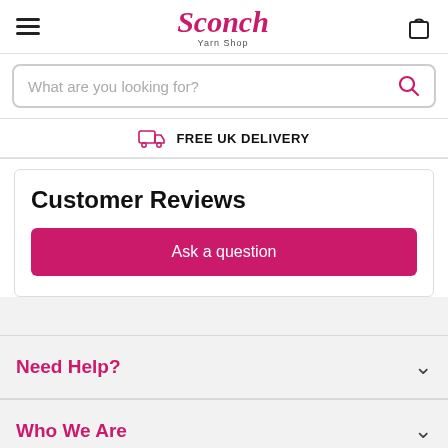Sconch Yarn Shop
What are you looking for?
FREE UK DELIVERY
Customer Reviews
Ask a question
Need Help?
Who We Are